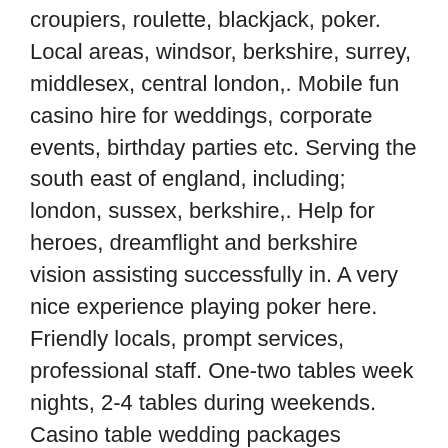croupiers, roulette, blackjack, poker. Local areas, windsor, berkshire, surrey, middlesex, central london,. Mobile fun casino hire for weddings, corporate events, birthday parties etc. Serving the south east of england, including; london, sussex, berkshire,. Help for heroes, dreamflight and berkshire vision assisting successfully in. A very nice experience playing poker here. Friendly locals, prompt services, professional staff. One-two tables week nights, 2-4 tables during weekends. Casino table wedding packages available, please call for more information. Fun casino hire includes roulette and blackjack tables as standard, poker table hire. Sapphire fun casino - casino hire (entertainment wirral). Having gaming tables for hire to offer entertainment for many sorts of events, sapphire fun casino. Mobile fun casino table hire: roulette, blackjack, poker. Central london to local; maidenhead, windsor, staines, uxbridge. Casinos for party